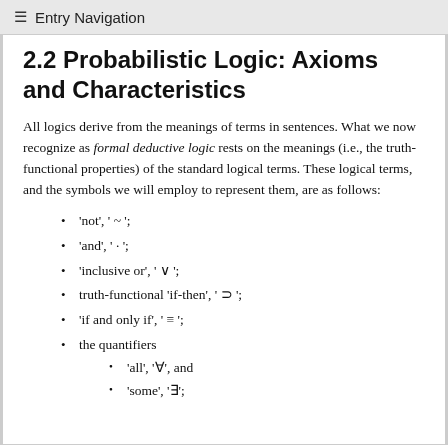≡ Entry Navigation
2.2 Probabilistic Logic: Axioms and Characteristics
All logics derive from the meanings of terms in sentences. What we now recognize as formal deductive logic rests on the meanings (i.e., the truth-functional properties) of the standard logical terms. These logical terms, and the symbols we will employ to represent them, are as follows:
'not', ' ~ ';
'and', ' · ';
'inclusive or', ' ∨ ';
truth-functional 'if-then', ' ⊃ ';
'if and only if', ' ≡ ';
the quantifiers
'all', '∀', and
'some', '∃';